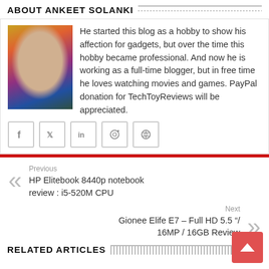ABOUT ANKEET SOLANKI
[Figure (photo): Profile photo of Ankeet Solanki]
He started this blog as a hobby to show his affection for gadgets, but over the time this hobby became professional. And now he is working as a full-time blogger, but in free time he loves watching movies and games. PayPal donation for TechToyReviews will be appreciated.
Facebook social icon
Twitter social icon
LinkedIn social icon
Pinterest social icon
Instagram social icon
Previous
HP Elitebook 8440p notebook review : i5-520M CPU
Next
Gionee Elife E7 – Full HD 5.5 "/ 16MP / 16GB Review
RELATED ARTICLES